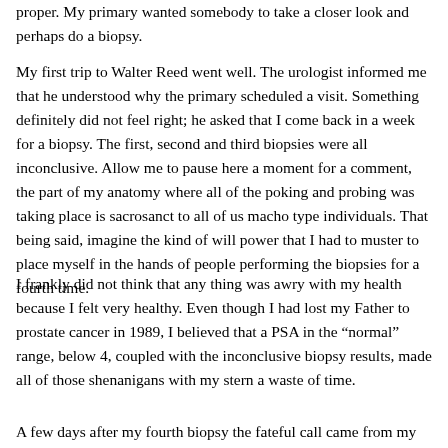proper. My primary wanted somebody to take a closer look and perhaps do a biopsy.
My first trip to Walter Reed went well. The urologist informed me that he understood why the primary scheduled a visit. Something definitely did not feel right; he asked that I come back in a week for a biopsy. The first, second and third biopsies were all inconclusive. Allow me to pause here a moment for a comment, the part of my anatomy where all of the poking and probing was taking place is sacrosanct to all of us macho type individuals. That being said, imagine the kind of will power that I had to muster to place myself in the hands of people performing the biopsies for a fourth time.
I frankly did not think that any thing was awry with my health because I felt very healthy. Even though I had lost my Father to prostate cancer in 1989, I believed that a PSA in the “normal” range, below 4, coupled with the inconclusive biopsy results, made all of those shenanigans with my stern a waste of time.
A few days after my fourth biopsy the fateful call came from my